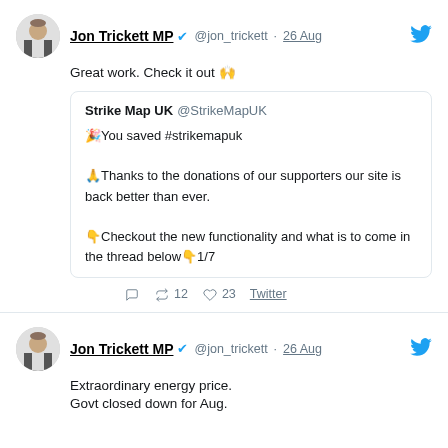[Figure (screenshot): Tweet from Jon Trickett MP (@jon_trickett) dated 26 Aug: 'Great work. Check it out 🙌' with a quoted tweet from Strike Map UK @StrikeMapUK about supporters saving the site, with retweet count 12 and like count 23.]
[Figure (screenshot): Second tweet from Jon Trickett MP (@jon_trickett) dated 26 Aug: 'Extraordinary energy price. Govt closed down for Aug.']